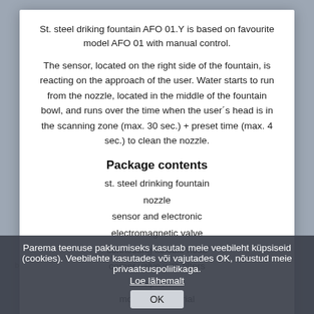St. steel driking fountain AFO 01.Y is based on favourite model AFO 01 with manual control.
The sensor, located on the right side of the fountain, is reacting on the approach of the user. Water starts to run from the nozzle, located in the middle of the fountain bowl, and runs over the time when the user´s head is in the scanning zone (max. 30 sec.) + preset time (max. 4 sec.) to clean the nozzle.
Package contents
st. steel drinking fountain
nozzle
sensor and electronic
electromagnetic valve
connecting flexible hose
corner valve with filters
siphon
mounting material
water inlet
G 1/2"
outlet
bowl inner dimension
45 mm
weigth
4 kg
suppply
12 V - 50 VA (AFO 01.Y; AFO 01.Y.CL)
6 V - 4 x AA battery (AFO 01.YB; AFO 01.YB.CL)
Parema teenuse pakkumiseks kasutab meie veebileht küpsiseid (cookies). Veebilehte kasutades või vajutades OK, nõustud meie privaatsuspoliitikaga. Loe lähemalt OK